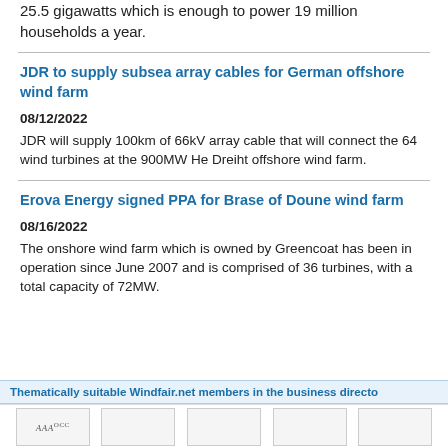25.5 gigawatts which is enough to power 19 million households a year.
JDR to supply subsea array cables for German offshore wind farm
08/12/2022
JDR will supply 100km of 66kV array cable that will connect the 64 wind turbines at the 900MW He Dreiht offshore wind farm.
Erova Energy signed PPA for Brase of Doune wind farm
08/16/2022
The onshore wind farm which is owned by Greencoat has been in operation since June 2007 and is comprised of 36 turbines, with a total capacity of 72MW.
Thematically suitable Windfair.net members in the business directo